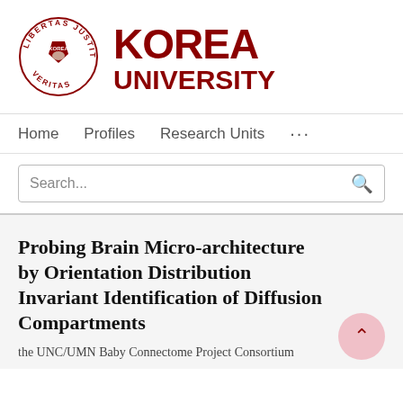[Figure (logo): Korea University logo: circular seal with text 'LIBERTAS JUSTITIA VERITAS' around a shield, next to large bold text 'KOREA UNIVERSITY' in dark red]
Home   Profiles   Research Units   ...
Search...
Probing Brain Micro-architecture by Orientation Distribution Invariant Identification of Diffusion Compartments
the UNC/UMN Baby Connectome Project Consortium